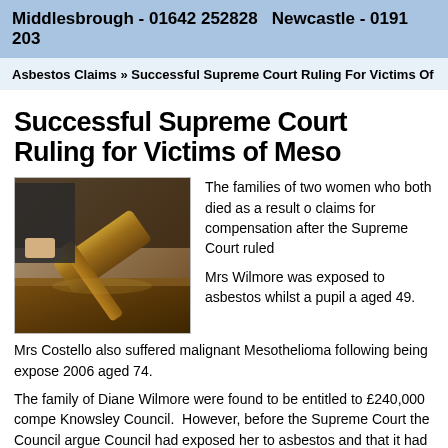Middlesbrough - 01642 252828  Newcastle - 0191 203
Asbestos Claims » Successful Supreme Court Ruling For Victims Of M
Successful Supreme Court Ruling for Victims of Meso
[Figure (photo): Photo of a gavel on a wooden surface, suggesting a court/legal setting]
The families of two women who both died as a result of claims for compensation after the Supreme Court ruled
Mrs Wilmore was exposed to asbestos whilst a pupil a aged 49.
Mrs Costello also suffered malignant Mesothelioma following being expose 2006 aged 74.
The family of Diane Wilmore were found to be entitled to £240,000 compe Knowsley Council.  However, before the Supreme Court the Council argue Council had exposed her to asbestos and that it had at least doubled the ri Mesothelioma.